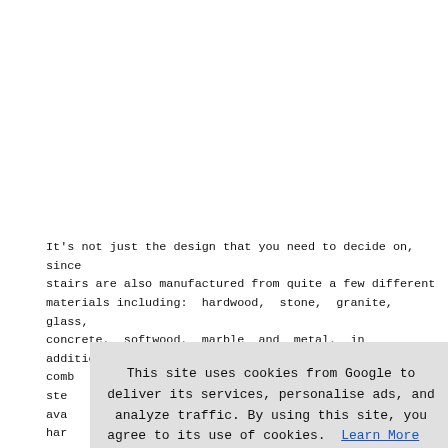It's not just the design that you need to decide on, since stairs are also manufactured from quite a few different materials including: hardwood, stone, granite, glass, concrete, softwood, marble and metal, in addition to comb... ste... ava... har... tea... sta... red... fir... pow...
This site uses cookies from Google to deliver its services, personalise ads, and analyze traffic. By using this site, you agree to its use of cookies. Learn More   I Agree
Regu... sta... regu... the... them... here: UK K1 Document, here: M1 and M2 Documents, and for